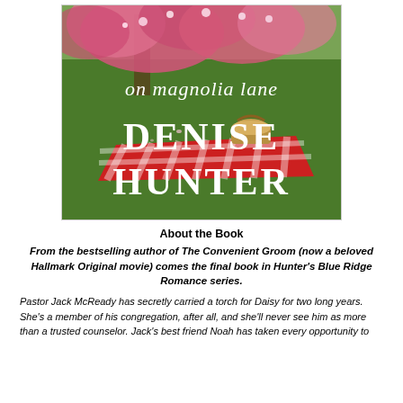[Figure (illustration): Book cover for 'On Magnolia Lane' by Denise Hunter. Shows a picnic blanket with a basket under blooming pink magnolia trees on a green lawn. The subtitle 'on magnolia lane' appears in white serif text in the upper portion, and 'DENISE HUNTER' appears in large white serif letters in the lower portion.]
About the Book
From the bestselling author of The Convenient Groom (now a beloved Hallmark Original movie) comes the final book in Hunter's Blue Ridge Romance series.
Pastor Jack McReady has secretly carried a torch for Daisy for two long years. She's a member of his congregation, after all, and she'll never see him as more than a trusted counselor. Jack's best friend Noah has taken every opportunity to